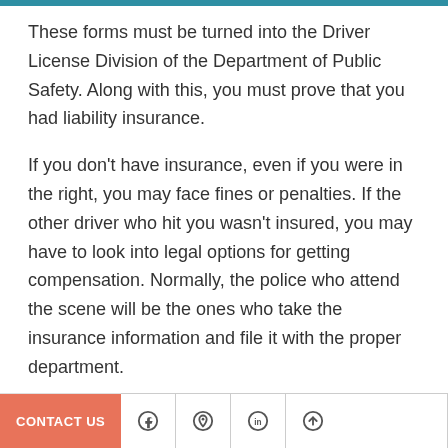These forms must be turned into the Driver License Division of the Department of Public Safety. Along with this, you must prove that you had liability insurance.
If you don't have insurance, even if you were in the right, you may face fines or penalties. If the other driver who hit you wasn't insured, you may have to look into legal options for getting compensation. Normally, the police who attend the scene will be the ones who take the insurance information and file it with the proper department.
CONTACT US